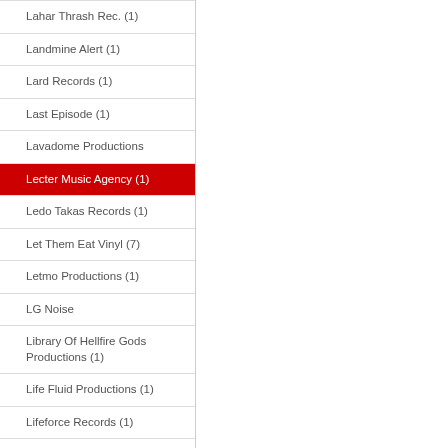Lahar Thrash Rec. (1)
Landmine Alert (1)
Lard Records (1)
Last Episode (1)
Lavadome Productions
Lecter Music Agency (1)
Ledo Takas Records (1)
Let Them Eat Vinyl (7)
Letmo Productions (1)
LG Noise
Library Of Hellfire Gods Productions (1)
Life Fluid Productions (1)
Lifeforce Records (1)
Light In The Attic